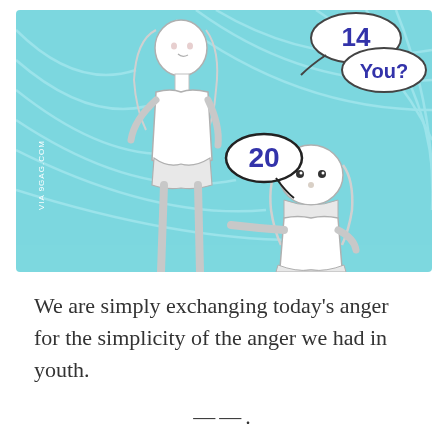[Figure (illustration): Cartoon illustration showing a tall teenage girl (labeled '14') and a smaller child (labeled '20' in a speech bubble), with 'You?' in a speech bubble near the tall girl. Background is light blue with swirl lines. Watermark 'VIA 9GAG.COM' on left side.]
We are simply exchanging today's anger for the simplicity of the anger we had in youth.
——.